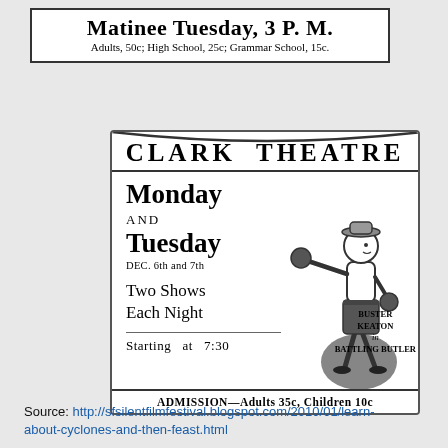Matinee Tuesday, 3 P. M.
Adults, 50c; High School, 25c; Grammar School, 15c.
[Figure (illustration): Vintage newspaper advertisement for Clark Theatre showing a boxer illustration (Buster Keaton in Battling Butler). Text includes: CLARK THEATRE, Monday AND Tuesday, DEC. 6th and 7th, Two Shows Each Night, Starting at 7:30, BUSTER KEATON in BATTLING BUTLER, ADMISSION-Adults 35c, Children 10c]
Source: http://sfsilentfilmfestival.blogspot.com/2010/01/learn-about-cyclones-and-then-feast.html